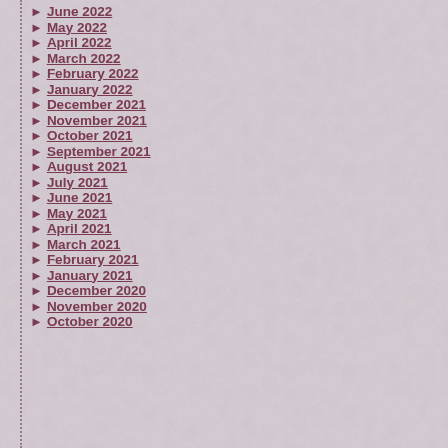June 2022
May 2022
April 2022
March 2022
February 2022
January 2022
December 2021
November 2021
October 2021
September 2021
August 2021
July 2021
June 2021
May 2021
April 2021
March 2021
February 2021
January 2021
December 2020
November 2020
October 2020